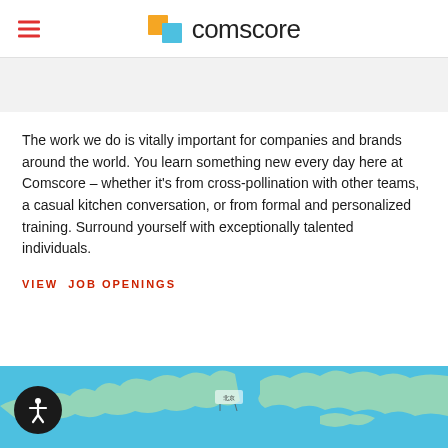comscore
The work we do is vitally important for companies and brands around the world. You learn something new every day here at Comscore – whether it's from cross-pollination with other teams, a casual kitchen conversation, or from formal and personalized training. Surround yourself with exceptionally talented individuals.
VIEW JOB OPENINGS
[Figure (map): Partial world map shown at bottom of page in blue/cyan tones]